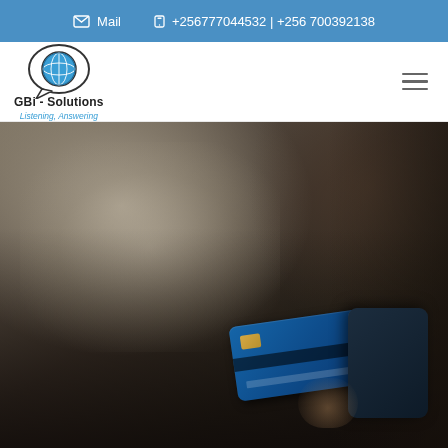Mail  +256777044532 | +256 700392138
[Figure (logo): GBi-Solutions logo: globe inside speech bubble, with text 'GBi - Solutions' and tagline 'Listening. Answering']
[Figure (photo): Background hero image showing a person in a white shirt holding a credit card and phone in a dark, blurred setting]